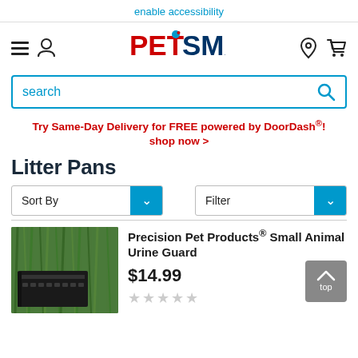enable accessibility
[Figure (logo): PetSmart logo with hamburger menu, user icon, location pin, and cart icons]
search
Try Same-Day Delivery for FREE powered by DoorDash®! shop now >
Litter Pans
Sort By
Filter
[Figure (photo): Precision Pet Products Small Animal Urine Guard product image showing a black urine guard against a green grass background]
Precision Pet Products® Small Animal Urine Guard
$14.99